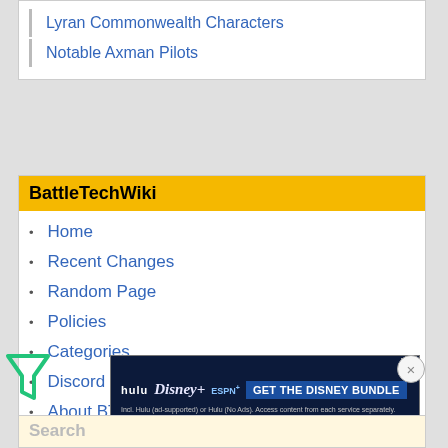Lyran Commonwealth Characters
Notable Axman Pilots
BattleTechWiki
Home
Recent Changes
Random Page
Policies
Categories
Discord Community
About BTW
Awards
FAQ
Links
General
[Figure (screenshot): Disney Bundle advertisement banner with Hulu, Disney+, ESPN+ logos and GET THE DISNEY BUNDLE call to action]
Search